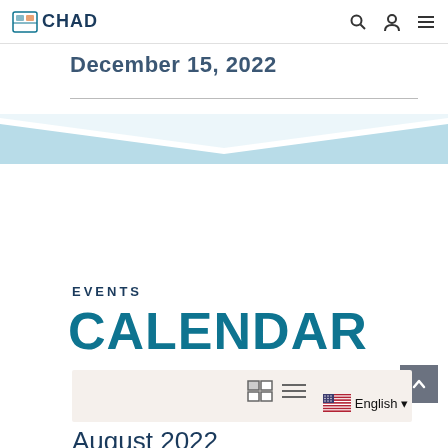CHAD
December 15, 2022
[Figure (illustration): Light blue decorative wave/chevron shape used as a section separator]
EVENTS
CALENDAR
[Figure (screenshot): Calendar toolbar with grid/list view icons and English language selector with US flag]
August 2022